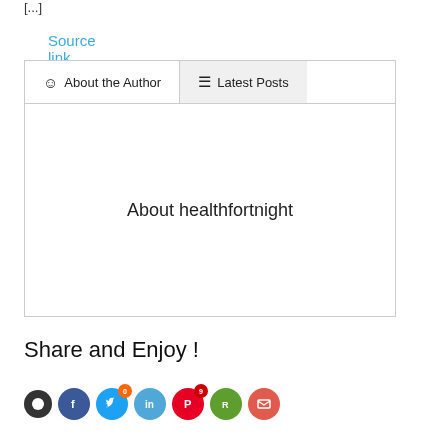[...]
Source link
| About the Author | Latest Posts |
| --- | --- |
About healthfortnight
Share and Enjoy !
[Figure (other): Social media share icons row: dark icon, Facebook (blue), Twitter (light blue, badge 0), LinkedIn (blue), Pinterest (red, badge 9), Reddit (green), Email (red)]